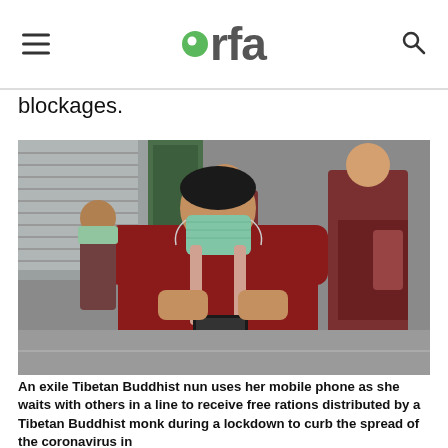rfa
blockages.
[Figure (photo): An exile Tibetan Buddhist nun wearing a surgical mask looks down at her mobile phone. She stands in a line with other people in dark red robes also wearing masks, on a street with shuttered shop fronts. She wears a dark red hoodie and carries a backpack.]
An exile Tibetan Buddhist nun uses her mobile phone as she waits with others in a line to receive free rations distributed by a Tibetan Buddhist monk during a lockdown to curb the spread of the coronavirus in